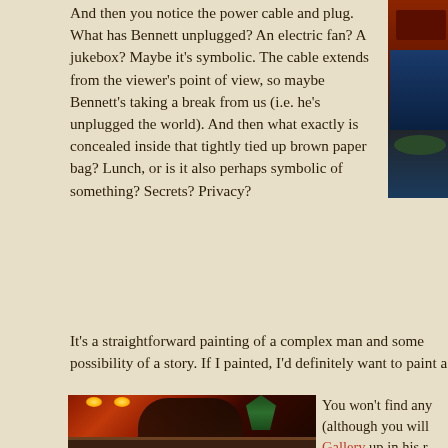And then you notice the power cable and plug. What has Bennett unplugged? An electric fan? A jukebox? Maybe it's symbolic. The cable extends from the viewer's point of view, so maybe Bennett's taking a break from us (i.e. he's unplugged the world). And then what exactly is concealed inside that tightly tied up brown paper bag? Lunch, or is it also perhaps symbolic of something? Secrets? Privacy?
[Figure (photo): Partial photo of an object/scene at the top right corner of the page, cropped]
It's a straightforward painting of a complex man and some possibility of a story. If I painted, I'd definitely want to paint a
[Figure (photo): A romantic painting showing a couple kissing in what appears to be a bar or lounge setting with warm red and amber tones, green foliage in background]
You won't find any (although you will Gallery up in his r London), Vettrian crass. Point in fac greeting card. Bu